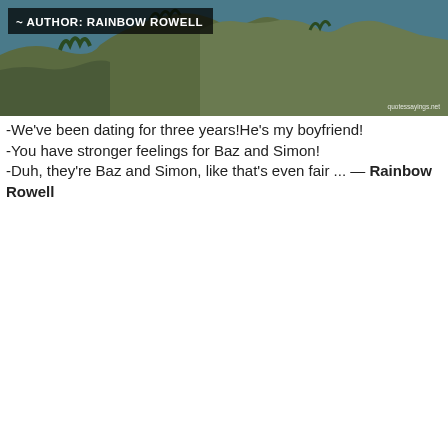[Figure (photo): Aerial coastal cliff photo with dark overlay. White banner at top left reads '~ AUTHOR: RAINBOW ROWELL' in bold white uppercase text. Watermark 'quotessayings.net' at bottom right.]
-We've been dating for three years!He's my boyfriend!
-You have stronger feelings for Baz and Simon!
-Duh, they're Baz and Simon, like that's even fair ... — Rainbow Rowell
[Figure (photo): Dark photo of armored/medieval hands holding a weapon. Yellow italic text overlay reads 'The Rainbow is a promise ~ Author: Mary Clark Dalton'.]